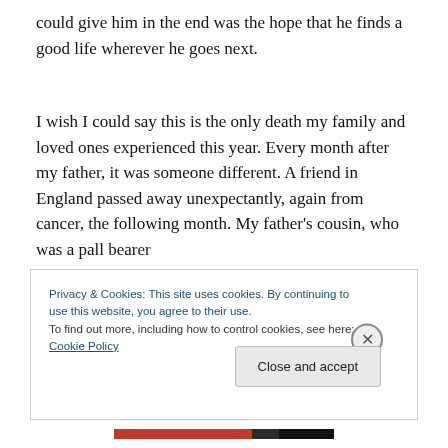could give him in the end was the hope that he finds a good life wherever he goes next.
I wish I could say this is the only death my family and loved ones experienced this year. Every month after my father, it was someone different. A friend in England passed away unexpectantly, again from cancer, the following month. My father's cousin, who was a pall bearer
Privacy & Cookies: This site uses cookies. By continuing to use this website, you agree to their use.
To find out more, including how to control cookies, see here: Cookie Policy